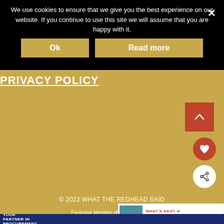We use cookies to ensure that we give you the best experience on our website. If you continue to use this site we will assume that you are happy with it.
Ok
Read more
PRIVACY POLICY
[Figure (infographic): Back to top arrow button (red square), heart/favorite button (red circle), share button (white circle with share icon)]
© 2022 WHAT THE REDHEAD SAID
Exclusive Member of Mediavine Family
WHAT'S NEXT → The World's First LED...
[Figure (infographic): Advertisement banner: YOUR PARTNER IN PROCUREMENT with food imagery, Foodbuy Foodservice logo, and close button]